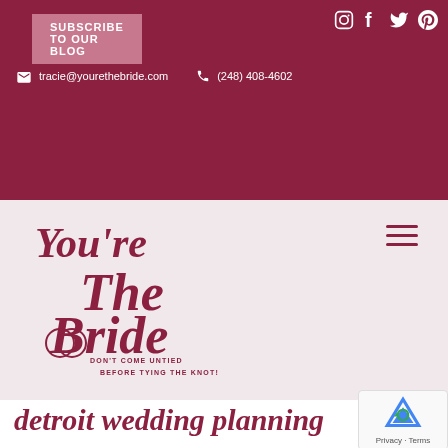SUBSCRIBE TO OUR BLOG
[Figure (logo): Social media icons: Instagram, Facebook, Twitter, Pinterest]
tracie@yourethebride.com   (248) 408-4602
SCHEDULE YOUR CONSULTATION
[Figure (logo): You're The Bride logo - script text with wedding rings. Tagline: DON'T COME UNTIED BEFORE TYING THE KNOT!]
detroit wedding planning